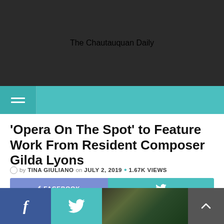The Chautauquan Daily
'Opera On The Spot' to Feature Work From Resident Composer Gilda Lyons
by TINA GIULIANO on JULY 2, 2019 • 1.67K VIEWS
[Figure (other): Social share buttons: Facebook and Twitter]
[Figure (photo): Bottom strip with Facebook icon, Twitter bird icon, a dark nature/leaves photo, and a scroll-up arrow button]